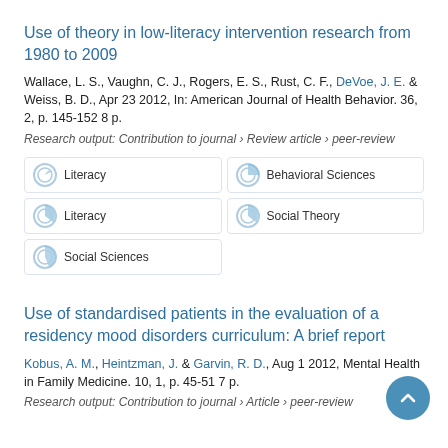Use of theory in low-literacy intervention research from 1980 to 2009
Wallace, L. S., Vaughn, C. J., Rogers, E. S., Rust, C. F., DeVoe, J. E. & Weiss, B. D., Apr 23 2012, In: American Journal of Health Behavior. 36, 2, p. 145-152 8 p.
Research output: Contribution to journal › Review article › peer-review
Literacy
Behavioral Sciences
Literacy
Social Theory
Social Sciences
Use of standardised patients in the evaluation of a residency mood disorders curriculum: A brief report
Kobus, A. M., Heintzman, J. & Garvin, R. D., Aug 1 2012, Mental Health in Family Medicine. 10, 1, p. 45-51 7 p.
Research output: Contribution to journal › Article › peer-review